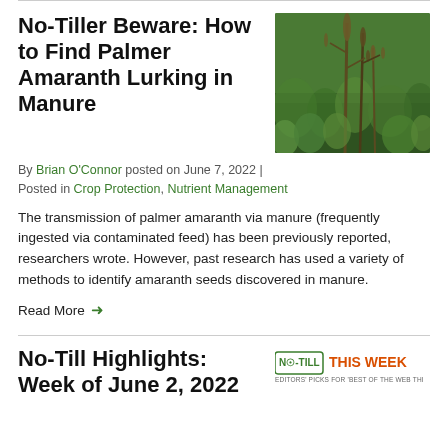No-Tiller Beware: How to Find Palmer Amaranth Lurking in Manure
[Figure (photo): Photo of palmer amaranth weeds growing tall above a field of crops, green vegetation]
By Brian O'Connor posted on June 7, 2022 | Posted in Crop Protection, Nutrient Management
The transmission of palmer amaranth via manure (frequently ingested via contaminated feed) has been previously reported, researchers wrote. However, past research has used a variety of methods to identify amaranth seeds discovered in manure.
Read More →
No-Till Highlights: Week of June 2, 2022
[Figure (logo): No-Till Farmer logo badge with 'NO-TILL THIS WEEK' text and subtitle 'EDITORS PICKS FOR BEST OF THE WEB THIS WEEK']